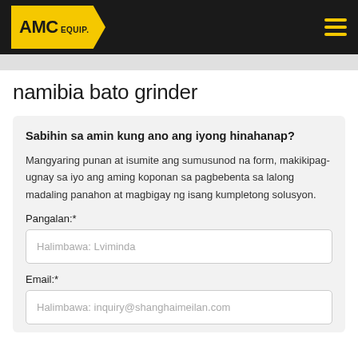AMC EQUIP.
namibia bato grinder
Sabihin sa amin kung ano ang iyong hinahanap?
Mangyaring punan at isumite ang sumusunod na form, makikipag-ugnay sa iyo ang aming koponan sa pagbebenta sa lalong madaling panahon at magbigay ng isang kumpletong solusyon.
Pangalan:*
Halimbawa: Lviminda
Email:*
Halimbawa: inquiry@shanghaimeilan.com